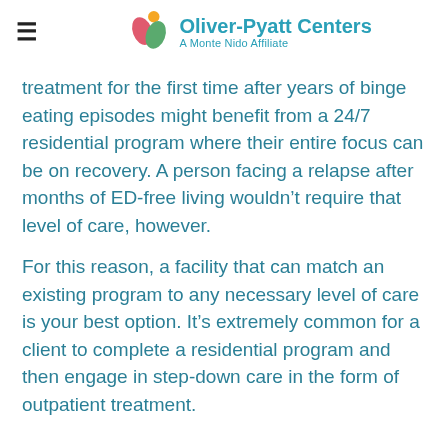Oliver-Pyatt Centers — A Monte Nido Affiliate
treatment for the first time after years of binge eating episodes might benefit from a 24/7 residential program where their entire focus can be on recovery. A person facing a relapse after months of ED-free living wouldn't require that level of care, however.
For this reason, a facility that can match an existing program to any necessary level of care is your best option. It's extremely common for a client to complete a residential program and then engage in step-down care in the form of outpatient treatment.